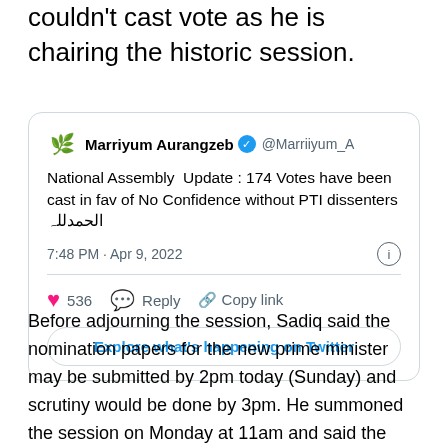couldn't cast vote as he is chairing the historic session.
[Figure (screenshot): Embedded tweet from @Marriyum_A (Marriiyum Aurangzeb, verified) stating: 'National Assembly Update : 174 Votes have been cast in fav of No Confidence without PTI dissenters الحمدللہ'. Timestamp: 7:48 PM · Apr 9, 2022. 536 likes. Actions: Reply, Copy link, Explore what's happening on Twitter.]
Before adjourning the session, Sadiq said the nomination papers for the new prime minister may be submitted by 2pm today (Sunday) and scrutiny would be done by 3pm. He summoned the session on Monday at 11am and said the new premier would be elected then.